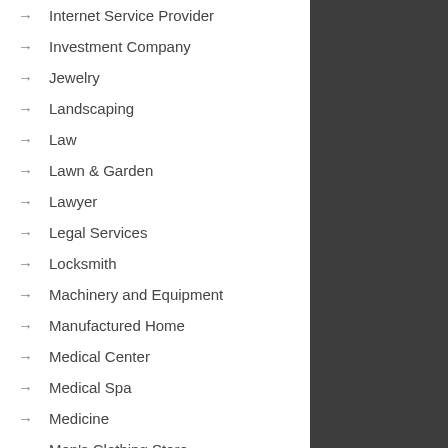Internet Service Provider
Investment Company
Jewelry
Landscaping
Law
Lawn & Garden
Lawyer
Legal Services
Locksmith
Machinery and Equipment
Manufactured Home
Medical Center
Medical Spa
Medicine
Men's Clothing Store
Metal Signs
Mobile Homes
Moving and Relocating